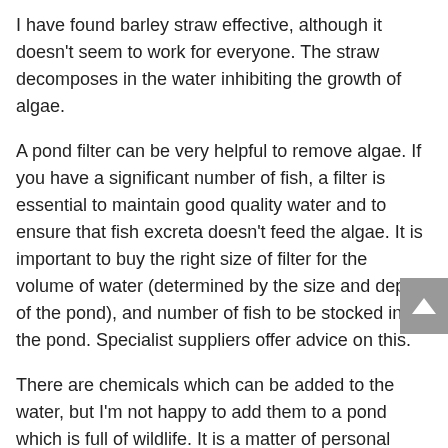I have found barley straw effective, although it doesn't seem to work for everyone. The straw decomposes in the water inhibiting the growth of algae.
A pond filter can be very helpful to remove algae. If you have a significant number of fish, a filter is essential to maintain good quality water and to ensure that fish excreta doesn't feed the algae. It is important to buy the right size of filter for the volume of water (determined by the size and depth of the pond), and number of fish to be stocked in the pond. Specialist suppliers offer advice on this.
There are chemicals which can be added to the water, but I'm not happy to add them to a pond which is full of wildlife. It is a matter of personal choice. The sustainable way forward is to build up the ecological balance in the pond so that it naturally takes away the algae.
With a little effort, it is possible to have an algae free